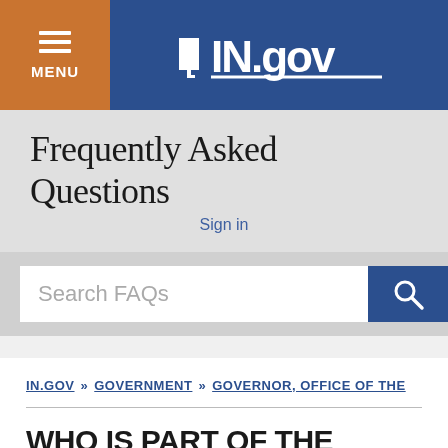MENU | IN.gov
Frequently Asked Questions
Sign in
Search FAQs
IN.GOV » GOVERNMENT » GOVERNOR, OFFICE OF THE
WHO IS PART OF THE GOVERNOR'S CA
1 month ago ·
Updated